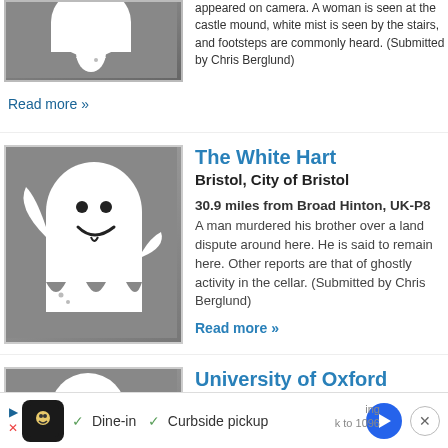[Figure (illustration): Ghost illustration on grey background (partially cropped at top)]
appeared on camera. A woman is seen at the castle mound, white mist is seen by the stairs, and footsteps are commonly heard. (Submitted by Chris Berglund)
Read more »
[Figure (illustration): Ghost illustration on grey background with badge showing 0]
The White Hart
Bristol, City of Bristol
30.9 miles from Broad Hinton, UK-P8
A man murdered his brother over a land dispute around here. He is said to remain here. Other reports are that of ghostly activity in the cellar. (Submitted by Chris Berglund)
Read more »
[Figure (illustration): Ghost illustration on grey background with badge showing 0]
University of Oxford
Oxford, England
31.1 miles from Broad Hinton, UK-P8
[Figure (other): Advertisement banner: Dine-in, Curbside pickup]